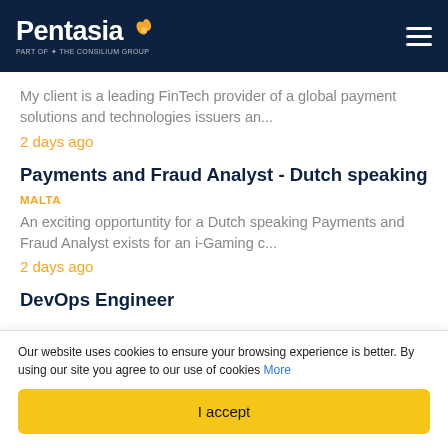Pentasia
My client is a leading FinTech provider of a global payment solutions and technologies issuers an...
2 days ago
Payments and Fraud Analyst - Dutch speaking
MALTA
An exciting opportuntity for a Dutch speaking Payments and Fraud Analyst exists for an i-Gaming c...
2 days ago
DevOps Engineer
Our website uses cookies to ensure your browsing experience is better. By using our site you agree to our use of cookies More
I accept